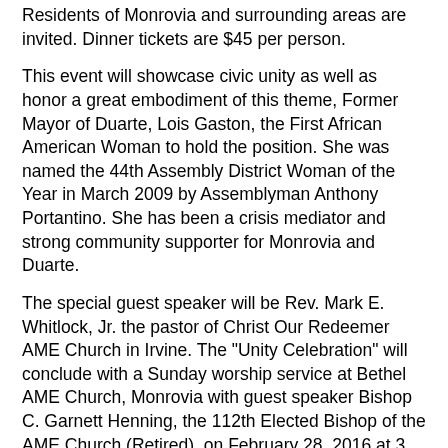Residents of Monrovia and surrounding areas are invited. Dinner tickets are $45 per person.
This event will showcase civic unity as well as honor a great embodiment of this theme, Former Mayor of Duarte, Lois Gaston, the First African American Woman to hold the position. She was named the 44th Assembly District Woman of the Year in March 2009 by Assemblyman Anthony Portantino. She has been a crisis mediator and strong community supporter for Monrovia and Duarte.
The special guest speaker will be Rev. Mark E. Whitlock, Jr. the pastor of Christ Our Redeemer AME Church in Irvine. The "Unity Celebration" will conclude with a Sunday worship service at Bethel AME Church, Monrovia with guest speaker Bishop C. Garnett Henning, the 112th Elected Bishop of the AME Church (Retired), on February 28, 2016 at 3 p.m.
For more information, sponsorship opportunities, or to purchase dinner tickets, visit https://www.eventbrite.com/e/2nd-annual-unity-celebration-tickets-20532512297. This link is also accessible online at